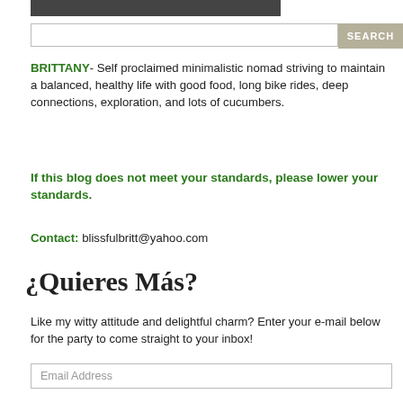[Figure (photo): Bottom portion of a photo (dark/outdoor scene), cropped at top of page]
[Figure (screenshot): Search bar with text input and SEARCH button]
BRITTANY- Self proclaimed minimalistic nomad striving to maintain a balanced, healthy life with good food, long bike rides, deep connections, exploration, and lots of cucumbers.
If this blog does not meet your standards, please lower your standards.
Contact: blissfulbritt@yahoo.com
¿Quieres Más?
Like my witty attitude and delightful charm? Enter your e-mail below for the party to come straight to your inbox!
[Figure (screenshot): Email Address input field]